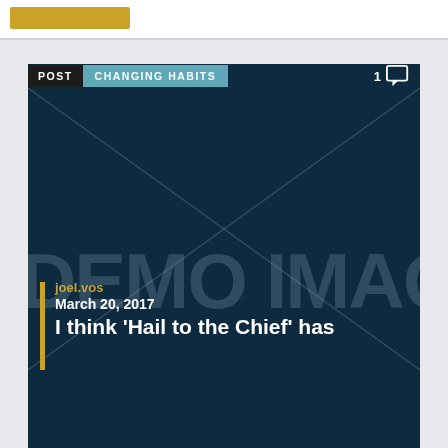[Figure (screenshot): Top bar with a gold/yellow button on white background]
[Figure (screenshot): Blog post card with dark navy background showing POST and CHANGING HABITS labels, a demo image placeholder with diagonal lines and DEMO IMAGE watermark text, a gold vertical bar, author joel.vos, date March 20, 2017, and partial title text 'I think Hail to the Chief' has']